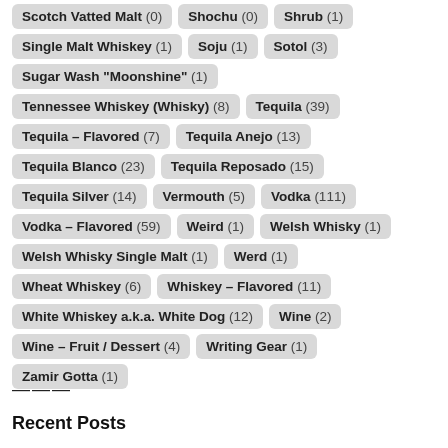Scotch Vatted Malt (0)  Shochu (0)  Shrub (1)
Single Malt Whiskey (1)  Soju (1)  Sotol (3)
Sugar Wash "Moonshine" (1)
Tennessee Whiskey (Whisky) (8)  Tequila (39)
Tequila – Flavored (7)  Tequila Anejo (13)
Tequila Blanco (23)  Tequila Reposado (15)
Tequila Silver (14)  Vermouth (5)  Vodka (111)
Vodka – Flavored (59)  Weird (1)  Welsh Whisky (1)
Welsh Whisky Single Malt (1)  Werd (1)
Wheat Whiskey (6)  Whiskey – Flavored (11)
White Whiskey a.k.a. White Dog (12)  Wine (2)
Wine – Fruit / Dessert (4)  Writing Gear (1)
Zamir Gotta (1)
———
Recent Posts